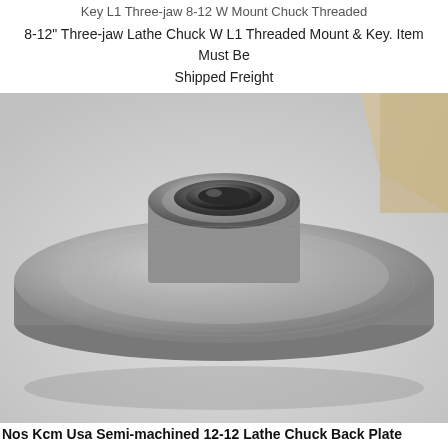Key L1 Three-jaw 8-12 W Mount Chuck Threaded
8-12" Three-jaw Lathe Chuck W L1 Threaded Mount & Key. Item Must Be Shipped Freight
[Figure (photo): A metallic lathe chuck back plate, disc-shaped with a raised central hub containing a threaded bore, machined steel surface, photographed on a white surface with a light background.]
Nos Kcm Usa Semi-machined 12-12 Lathe Chuck Back Plate